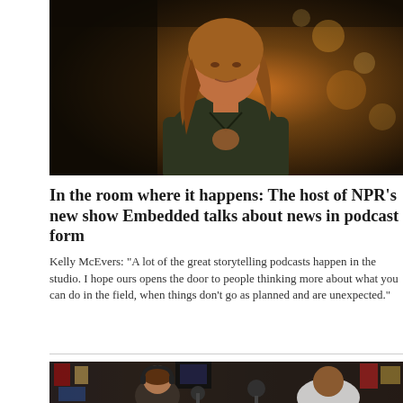[Figure (photo): Woman with long hair wearing an olive/dark green jacket, standing outdoors at night with bokeh lighting in the background. Appears to be a journalist or reporter.]
In the room where it happens: The host of NPR’s new show Embedded talks about news in podcast form
Kelly McEvers: “A lot of the great storytelling podcasts happen in the studio. I hope ours opens the door to people thinking more about what you can do in the field, when things don’t go as planned and are unexpected.”
[Figure (photo): Two men at a podcast recording studio with microphones and headphones. One man with a beard wearing a plaid shirt is on the left, and another man in a white shirt is on the right. The studio has posters and equipment visible in the background.]